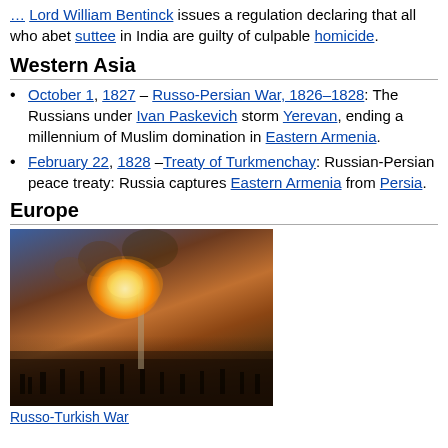… issuing a regulation declaring that all who abet suttee in India are guilty of culpable homicide.
Western Asia
October 1, 1827 – Russo-Persian War, 1826–1828: The Russians under Ivan Paskevich storm Yerevan, ending a millennium of Muslim domination in Eastern Armenia.
February 22, 1828 – Treaty of Turkmenchay: Russian-Persian peace treaty: Russia captures Eastern Armenia from Persia.
Europe
[Figure (photo): Painting depicting the Russo-Turkish War, showing a large nighttime battle scene with fire, smoke, and troops in conflict.]
Russo-Turkish War